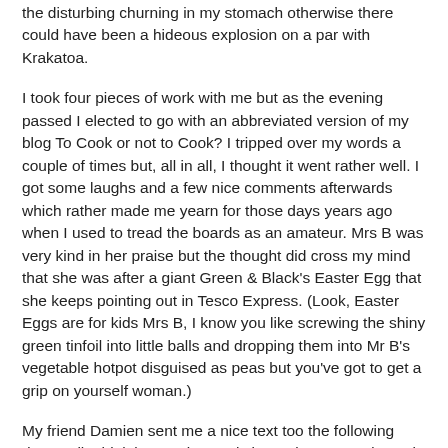the disturbing churning in my stomach otherwise there could have been a hideous explosion on a par with Krakatoa.
I took four pieces of work with me but as the evening passed I elected to go with an abbreviated version of my blog To Cook or not to Cook? I tripped over my words a couple of times but, all in all, I thought it went rather well. I got some laughs and a few nice comments afterwards which rather made me yearn for those days years ago when I used to tread the boards as an amateur. Mrs B was very kind in her praise but the thought did cross my mind that she was after a giant Green & Black's Easter Egg that she keeps pointing out in Tesco Express. (Look, Easter Eggs are for kids Mrs B, I know you like screwing the shiny green tinfoil into little balls and dropping them into Mr B's vegetable hotpot disguised as peas but you've got to get a grip on yourself woman.)
My friend Damien sent me a nice text too the following day. Well I think it was nice. Only it was in text word speak - which I have as much chance as understanding as I have of becoming an Olympic long jump champion. So in the interest of egotism and sad delusional behaviour I translated into